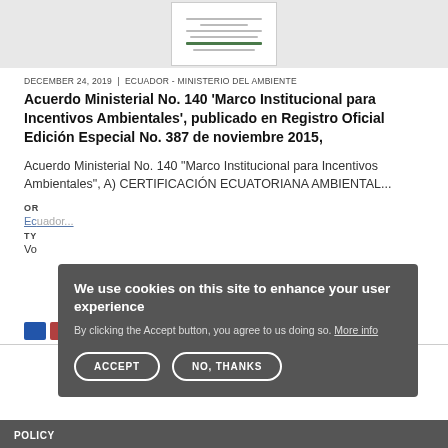[Figure (screenshot): Thumbnail of a document page with horizontal lines representing text]
DECEMBER 24, 2019 | ECUADOR - MINISTERIO DEL AMBIENTE
Acuerdo Ministerial No. 140 'Marco Institucional para Incentivos Ambientales', publicado en Registro Oficial Edición Especial No. 387 de noviembre 2015,
Acuerdo Ministerial No. 140 "Marco Institucional para Incentivos Ambientales", A) CERTIFICACIÓN ECUATORIANA AMBIENTAL...
OR
Ecuador... (link)
TYPE
Vo...
We use cookies on this site to enhance your user experience
By clicking the Accept button, you agree to us doing so. More info
ACCEPT
NO, THANKS
POLICY